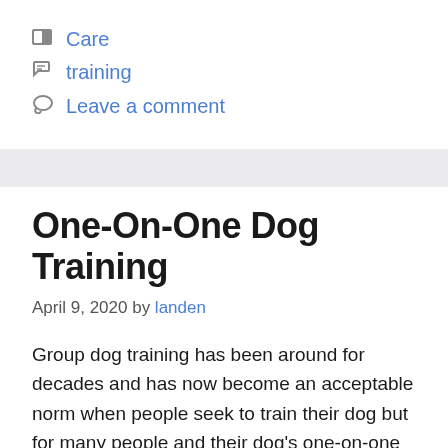Care
training
Leave a comment
One-On-One Dog Training
April 9, 2020 by landen
Group dog training has been around for decades and has now become an acceptable norm when people seek to train their dog but for many people and their dog’s one-on-one training proves to be a better option, particularly in the